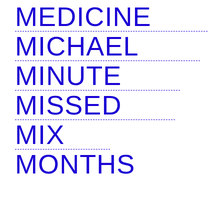MEDICINE
MICHAEL
MINUTE
MISSED
MIX
MONTHS